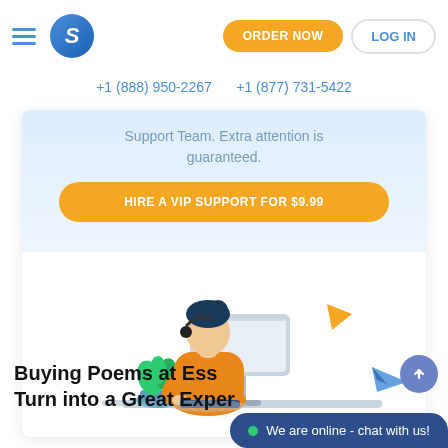[Figure (screenshot): Website header with hamburger menu, circular S logo, orange ORDER NOW button, and LOG IN button]
+1 (888) 950-2267    +1 (877) 731-5422
Support Team. Extra attention is guaranteed.
HIRE A VIP SUPPORT FOR $9.99
[Figure (illustration): Illustration of a female customer support agent in orange jacket sitting at a desk with a monitor, headset on, with a plant and decorative paper airplane elements]
Buying Poems at Ess- Turn into a Great Exper-